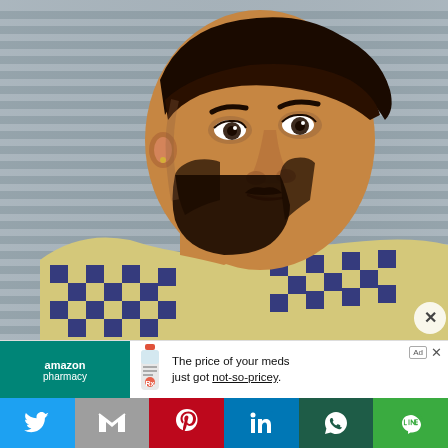[Figure (photo): Portrait photo of a young man with styled hair and a beard, wearing a blue and yellow checkered shirt, posed against a metallic shutter/blind background.]
[Figure (infographic): Amazon Pharmacy advertisement banner: teal left panel with 'amazon pharmacy' branding, medicine bottle graphic, text reading 'The price of your meds just got not-so-pricey.' with ad label and close button.]
[Figure (infographic): Social sharing bar with six buttons: Twitter (blue bird icon), Gmail (grey M icon), Pinterest (red P icon), LinkedIn (blue in icon), WhatsApp (dark green phone icon), Line (green icon).]